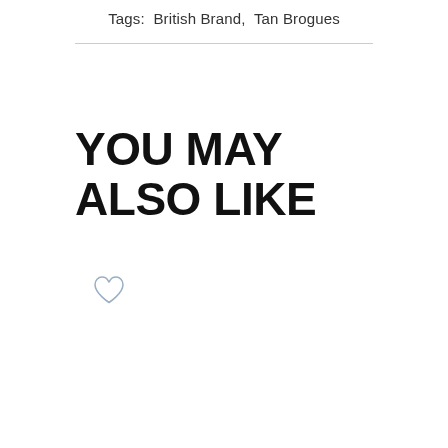Tags:  British Brand,  Tan Brogues
YOU MAY ALSO LIKE
[Figure (illustration): A small heart outline icon (favorite/wishlist button)]